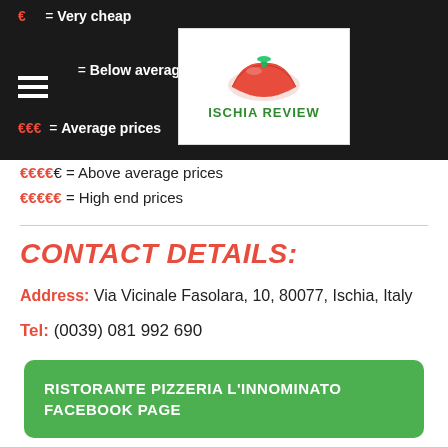€ = Very cheap | €€ = Below average | €€€ = Average prices | €€€€ = Above average prices | €€€€€ = High end prices
[Figure (logo): Ischia Review logo with red pizza/tomato illustration and green text]
CONTACT DETAILS:
Address: Via Vicinale Fasolara, 10, 80077, Ischia, Italy
Tel: (0039) 081 992 690
RISTORANTE PIZZERIA L'INNOMINATO FACEBOOK PAGE